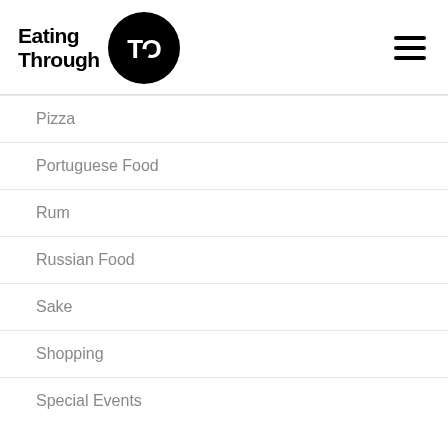Eating Through TO
Pizza
Portuguese Food
Rum
Russian Food
Sake
Shopping
Special Events